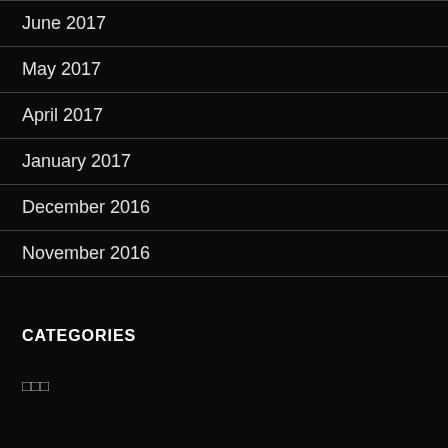June 2017
May 2017
April 2017
January 2017
December 2016
November 2016
CATEGORIES
□□□
META